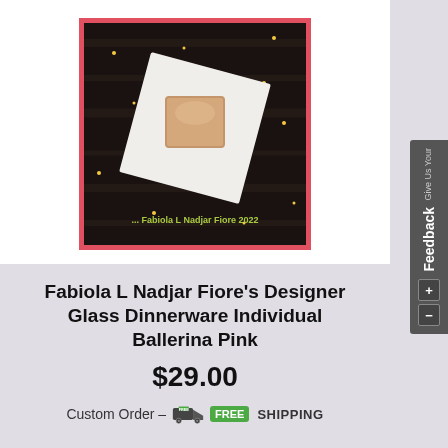[Figure (photo): Product photo of a white square glass plate with a smaller pink/beige square glass dish on top, on a dark wooden background with confetti. Red border frame. Watermark: Fabiola L Nadjar Fiore 2022]
Fabiola L Nadjar Fiore's Designer Glass Dinnerware Individual Ballerina Pink
$29.00
Custom Order – FREE SHIPPING
SELECT OPTIONS